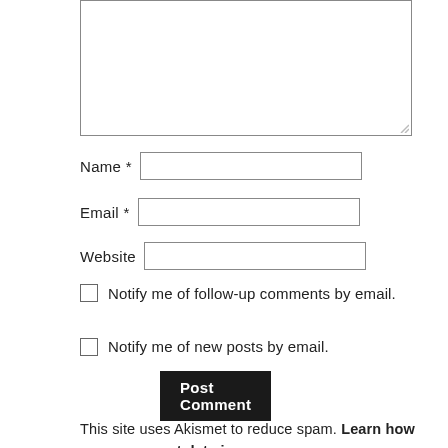[Figure (screenshot): A web comment form with a textarea, Name, Email, Website fields, two checkboxes for notifications, a Post Comment button, and Akismet spam notice.]
Name *
Email *
Website
Notify me of follow-up comments by email.
Notify me of new posts by email.
Post Comment
This site uses Akismet to reduce spam. Learn how your comment data is